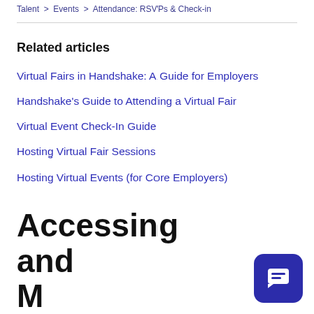Talent > Events > Attendance: RSVPs & Check-in
Related articles
Virtual Fairs in Handshake: A Guide for Employers
Handshake's Guide to Attending a Virtual Fair
Virtual Event Check-In Guide
Hosting Virtual Fair Sessions
Hosting Virtual Events (for Core Employers)
Accessing and